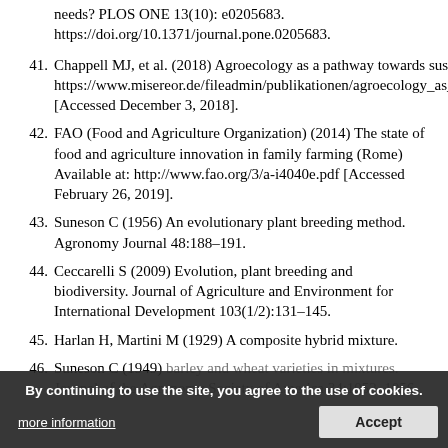needs? PLOS ONE 13(10): e0205683. https://doi.org/10.1371/journal.pone.0205683.
41. Chappell MJ, et al. (2018) Agroecology as a pathway towards sustainable food systems agroecology (Misereor) https://www.misereor.de/fileadmin/publikationen/agroecology_as_a_pathway_towards_sustainable_food_systems.pdf [Accessed December 3, 2018].
42. FAO (Food and Agriculture Organization) (2014) The state of food and agriculture innovation in family farming (Rome) Available at: http://www.fao.org/3/a-i4040e.pdf [Accessed February 26, 2019].
43. Suneson C (1956) An evolutionary plant breeding method. Agronomy Journal 48:188–191.
44. Ceccarelli S (2009) Evolution, plant breeding and biodiversity. Journal of Agriculture and Environment for International Development 103(1/2):131–145.
45. Harlan H, Martini M (1929) A composite hybrid mixture.
46. Suneson C (1949) Survival of barley and wheat varieties in mixtures. Journal of the Agronomy Society of America 34:1052–1056.
By continuing to use the site, you agree to the use of cookies.
more information   Accept